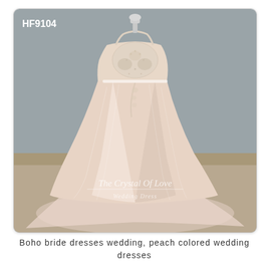[Figure (photo): A boho-style A-line wedding dress with a lace appliqué bodice and flowing tulle skirt with cathedral train, displayed on a mannequin. The dress is a peach/blush color. Product code HF9104 appears in the upper left corner. Watermark 'The Crystal Of Love / Wedding Dress' is overlaid on the lower portion of the image.]
Boho bride dresses wedding, peach colored wedding dresses